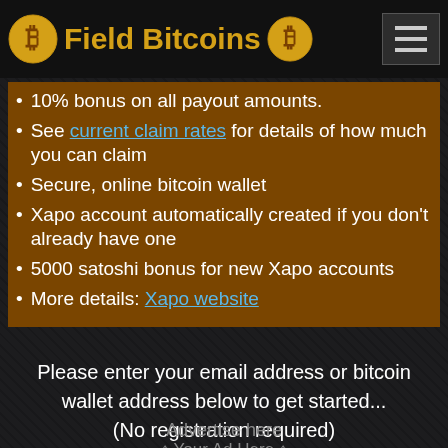Field Bitcoins
10% bonus on all payout amounts.
See current claim rates for details of how much you can claim
Secure, online bitcoin wallet
Xapo account automatically created if you don't already have one
5000 satoshi bonus for new Xapo accounts
More details: Xapo website
Please enter your email address or bitcoin wallet address below to get started... (No registration required)
Advertise here
↑ Your Ad Here ↑